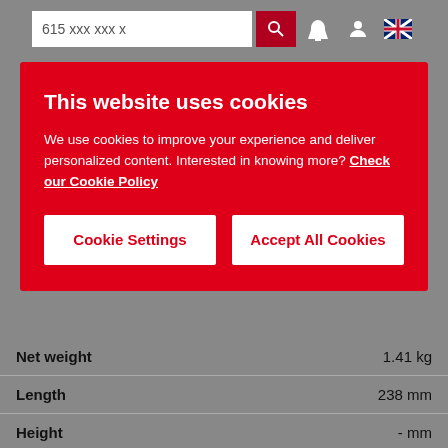615 xxx xxx x
This website uses cookies
We use cookies to improve your experience and deliver personalized content. Interested in knowing more? Check our Cookie Policy
Cookie Settings
Accept All Cookies
| Property | Value |
| --- | --- |
| Net weight | 1.41 kg |
| Length | 238 mm |
| Height | - mm |
| Air inlet thread size | 0.375 BSP |
| Min. hose size | 13 mm |
| Actual air consumption | 11 l/s |